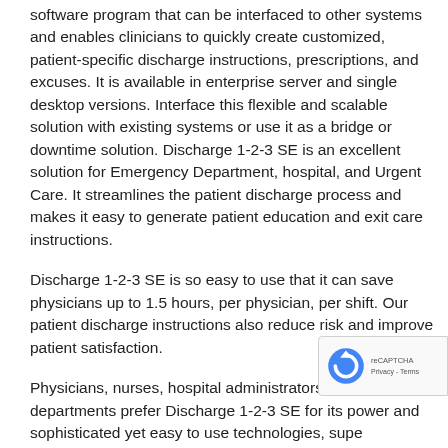software program that can be interfaced to other systems and enables clinicians to quickly create customized, patient-specific discharge instructions, prescriptions, and excuses. It is available in enterprise server and single desktop versions. Interface this flexible and scalable solution with existing systems or use it as a bridge or downtime solution. Discharge 1-2-3 SE is an excellent solution for Emergency Department, hospital, and Urgent Care. It streamlines the patient discharge process and makes it easy to generate patient education and exit care instructions.
Discharge 1-2-3 SE is so easy to use that it can save physicians up to 1.5 hours, per physician, per shift. Our patient discharge instructions also reduce risk and improve patient satisfaction.
Physicians, nurses, hospital administrators, and IT departments prefer Discharge 1-2-3 SE for its power and sophisticated yet easy to use technologies, superior discharge instructions, patient document libraries, and ease of installation and customer support.